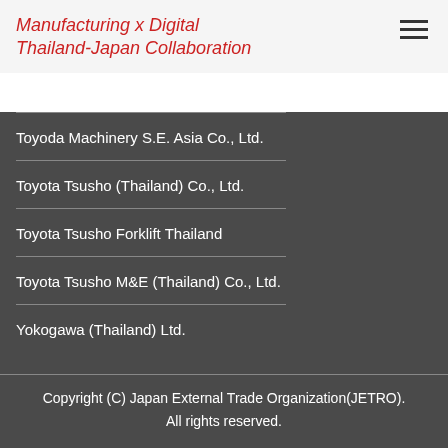Manufacturing x Digital Thailand-Japan Collaboration
Toyoda Machinery S.E. Asia Co., Ltd.
Toyota Tsusho (Thailand) Co., Ltd.
Toyota Tsusho Forklift Thailand
Toyota Tsusho M&E (Thailand) Co., Ltd.
Yokogawa (Thailand) Ltd.
Copyright (C) Japan External Trade Organization(JETRO). All rights reserved.